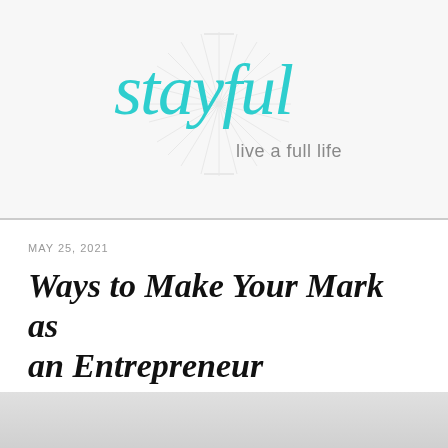[Figure (logo): Stayful logo with cursive teal text reading 'stayful' and subtitle 'live a full life', with a decorative starburst/sunburst graphic in light gray behind the text]
MAY 25, 2021
Ways to Make Your Mark as an Entrepreneur
[Figure (photo): Partial bottom image, gray gradient, appears to be a cropped photograph]